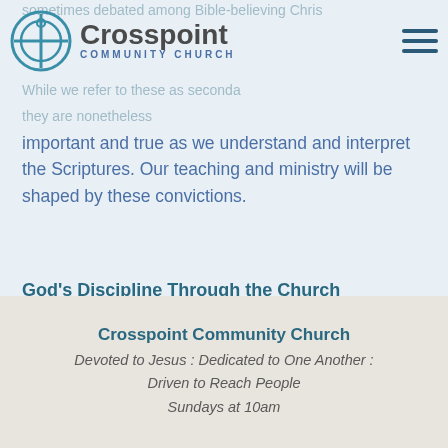Crosspoint Community Church
sometimes debated among Bible-believing Christians. While we refer to these as secondary issues, they are nonetheless important and true as we understand and interpret the Scriptures. Our teaching and ministry will be shaped by these convictions.
God's Discipline Through the Church
Click here for a thorough summary around this specific area of life in the church.
Crosspoint Community Church
Devoted to Jesus : Dedicated to One Another : Driven to Reach People
Sundays at 10am